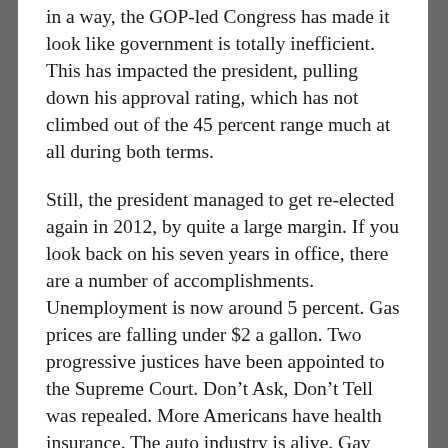in a way, the GOP-led Congress has made it look like government is totally inefficient. This has impacted the president, pulling down his approval rating, which has not climbed out of the 45 percent range much at all during both terms.
Still, the president managed to get re-elected again in 2012, by quite a large margin. If you look back on his seven years in office, there are a number of accomplishments. Unemployment is now around 5 percent. Gas prices are falling under $2 a gallon. Two progressive justices have been appointed to the Supreme Court. Don't Ask, Don't Tell was repealed. More Americans have health insurance. The auto industry is alive. Gay marriage is now legal, and recently, through executive action, new gun laws are on the books, including stronger background checks, which most Americans, including gun owners favor.